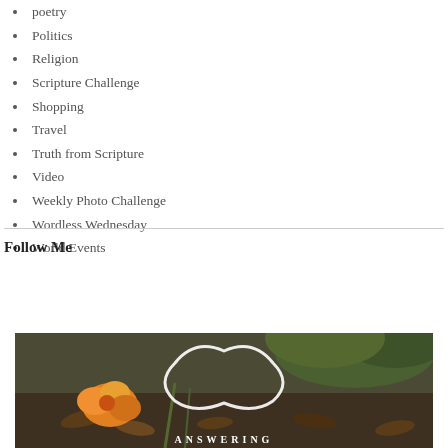poetry
Politics
Religion
Scripture Challenge
Shopping
Travel
Truth from Scripture
Video
Weekly Photo Challenge
Wordless Wednesday
World Events
Follow Me
[Figure (photo): A nature photo showing an orange flower against dark foliage and leaf litter, with a decorative white scroll/frame overlay and text reading ANSWERING at the bottom]